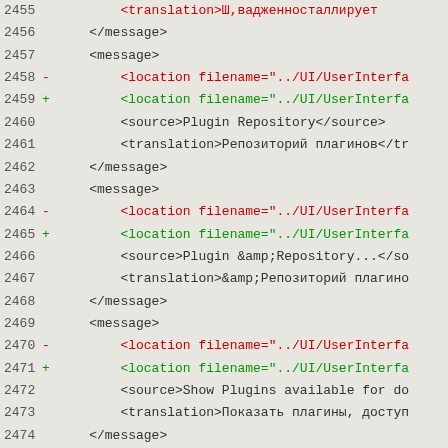Code diff showing XML message translation entries, lines 2455-2475
2455  <translation>...</translation> (truncated, red/minus)
2456      </message>
2457      <message>
2458 -        <location filename="../UI/UserInterfa (red)
2459 +        <location filename="../UI/UserInterfa (green)
2460          <source>Plugin Repository</source>
2461          <translation>Репозиторий плагинов</tr
2462      </message>
2463      <message>
2464 -        <location filename="../UI/UserInterfa (red)
2465 +        <location filename="../UI/UserInterfa (green)
2466          <source>Plugin &amp;Repository...</so
2467          <translation>&amp;Репозиторий плагино
2468      </message>
2469      <message>
2470 -        <location filename="../UI/UserInterfa (red)
2471 +        <location filename="../UI/UserInterfa (green)
2472          <source>Show Plugins available for do
2473          <translation>Показать плагины, доступ
2474      </message>
2475      <message>